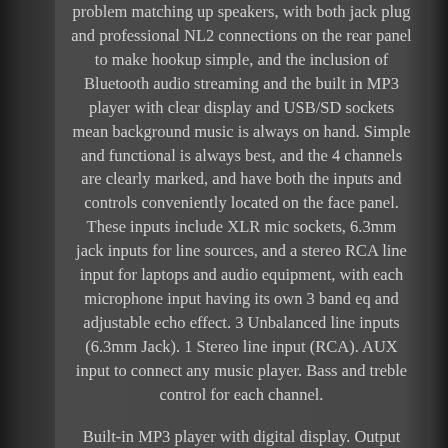problem matching up speakers, with both jack plug and professional NL2 connections on the rear panel to make hookup simple, and the inclusion of Bluetooth audio streaming and the built in MP3 player with clear display and USB/SD sockets mean background music is always on hand. Simple and functional is always best, and the 4 channels are clearly marked, and have both the inputs and controls conveniently located on the face panel. These inputs include XLR mic sockets, 6.3mm jack inputs for line sources, and a stereo RCA line input for laptops and audio equipment, with each microphone input having its own 3 band eq and adjustable echo effect. 3 Unbalanced line inputs (6.3mm Jack). 1 Stereo line input (RCA). AUX input to connect any music player. Bass and treble control for each channel.
Built-in MP3 player with digital display. Output power: 8 Ohms: 2x 70W rms.
Output power: 4 Ohms: 2x 100W rms. Frequency response: 50Hz - 20kHz. Power supply: 100-